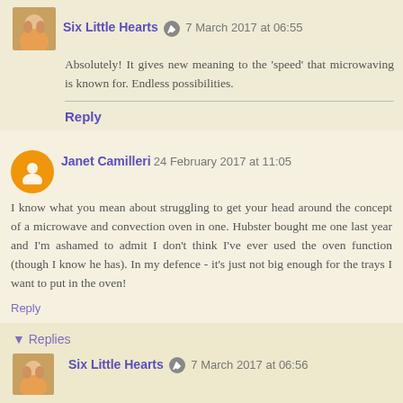Six Little Hearts [pencil icon] 7 March 2017 at 06:55
Absolutely! It gives new meaning to the 'speed' that microwaving is known for. Endless possibilities.
Reply
Janet Camilleri 24 February 2017 at 11:05
I know what you mean about struggling to get your head around the concept of a microwave and convection oven in one. Hubster bought me one last year and I'm ashamed to admit I don't think I've ever used the oven function (though I know he has). In my defence - it's just not big enough for the trays I want to put in the oven!
Reply
▾ Replies
Six Little Hearts [pencil icon] 7 March 2017 at 06:56
Janet, you must get playing with that feature. It's a